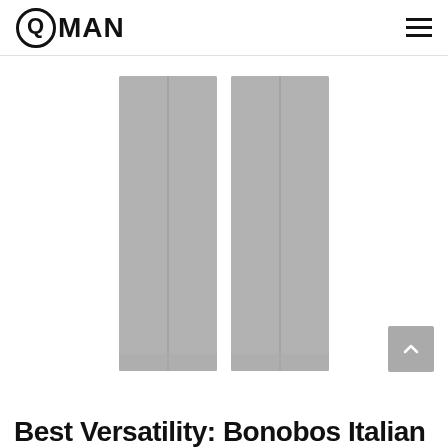QMAN
[Figure (photo): Product photo of gray dress pants (two legs visible, showing creased front panels) on a white background, centered on the page.]
Best Versatility: Bonobos Italian